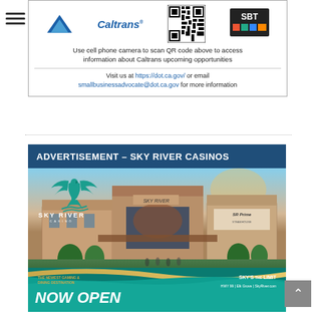[Figure (infographic): Caltrans advertisement with logo, QR code, and SBT badge. Text: 'Use cell phone camera to scan QR code above to access information about Caltrans upcoming opportunities'. Visit us at https://dot.ca.gov/ or email smallbusinessadvocate@dot.ca.gov for more information.]
ADVERTISEMENT – SKY RIVER CASINOS
[Figure (photo): Sky River Casino advertisement showing exterior rendering of casino building with Sky River logo (teal phoenix bird), casino exterior with 'SKY RIVER' and 'SR Prime Steakhouse' signage, teal wave design at bottom, tagline 'THE NEWEST GAMING & DINING DESTINATION', 'NOW OPEN', and 'SKY'S THE LIMIT'. Address: HWY 99 | Elk Grove | SkyRiver.com]